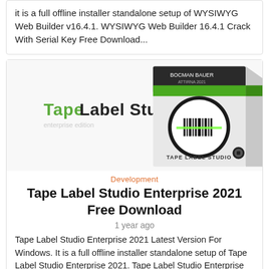it is a full offline installer standalone setup of WYSIWYG Web Builder v16.4.1. WYSIWYG Web Builder 16.4.1 Crack With Serial Key Free Download...
[Figure (photo): Product box image of Tape Label Studio with barcode scanner graphic and green laser scan line. Text on box reads: TAPE LABEL STUDIO. Left side shows 'Tape Label Studio' logo text in green and black.]
Development
Tape Label Studio Enterprise 2021 Free Download
1 year ago
Tape Label Studio Enterprise 2021 Latest Version For Windows. It is a full offline installer standalone setup of Tape Label Studio Enterprise 2021. Tape Label Studio Enterprise